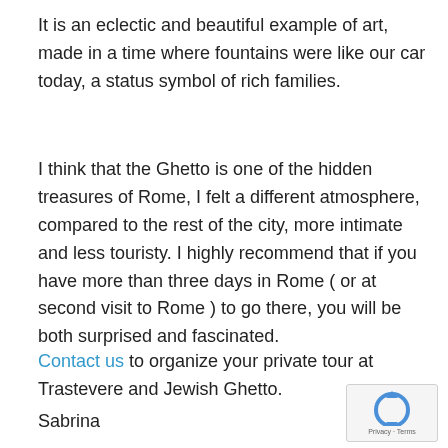It is an eclectic and beautiful example of art, made in a time where fountains were like our car today, a status symbol of rich families.
I think that the Ghetto is one of the hidden treasures of Rome, I felt a different atmosphere, compared to the rest of the city, more intimate and less touristy. I highly recommend that if you have more than three days in Rome ( or at second visit to Rome ) to go there, you will be both surprised and fascinated.
Contact us to organize your private tour at Trastevere and Jewish Ghetto.
Sabrina